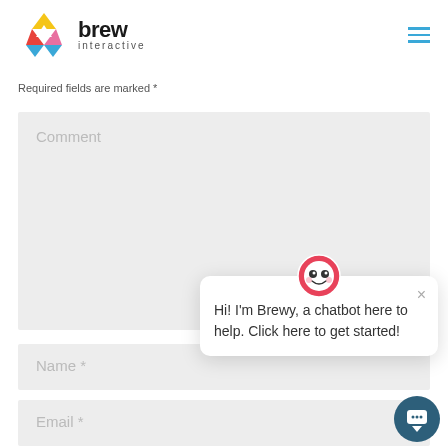[Figure (logo): Brew Interactive logo with colorful triangular icon and bold 'brew' text with 'interactive' subtitle]
Required fields are marked *
[Figure (screenshot): Comment text input field (large, gray background)]
[Figure (screenshot): Name * text input field (gray background)]
[Figure (screenshot): Email * text input field (gray background)]
[Figure (infographic): Brewy chatbot popup with avatar icon, close button X, and text: Hi! I'm Brewy, a chatbot here to help. Click here to get started!]